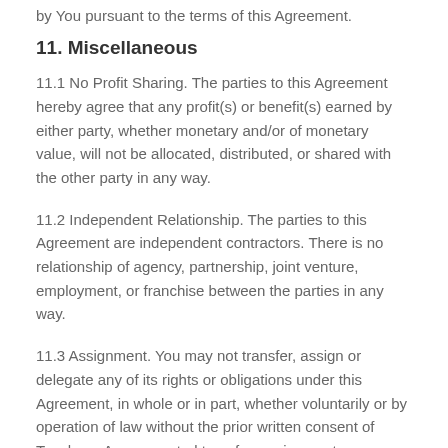by You pursuant to the terms of this Agreement.
11. Miscellaneous
11.1 No Profit Sharing. The parties to this Agreement hereby agree that any profit(s) or benefit(s) earned by either party, whether monetary and/or of monetary value, will not be allocated, distributed, or shared with the other party in any way.
11.2 Independent Relationship. The parties to this Agreement are independent contractors. There is no relationship of agency, partnership, joint venture, employment, or franchise between the parties in any way.
11.3 Assignment. You may not transfer, assign or delegate any of its rights or obligations under this Agreement, in whole or in part, whether voluntarily or by operation of law without the prior written consent of Teachery. Any purported transfer, assignment, or